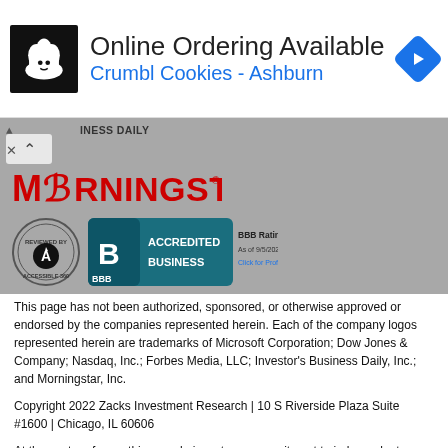[Figure (screenshot): Advertisement banner: Online Ordering Available - Crumbl Cookies - Ashburn, with cookie logo and blue navigation arrow icon]
[Figure (logo): Morningstar logo in red text on gray background]
[Figure (logo): BBB Accredited Business badge with A+ rating as of 9/5/2022 and Reviewed by Accessible 360 seal]
This page has not been authorized, sponsored, or otherwise approved or endorsed by the companies represented herein. Each of the company logos represented herein are trademarks of Microsoft Corporation; Dow Jones & Company; Nasdaq, Inc.; Forbes Media, LLC; Investor's Business Daily, Inc.; and Morningstar, Inc.
Copyright 2022 Zacks Investment Research | 10 S Riverside Plaza Suite #1600 | Chicago, IL 60606
At the center of everything we do is a strong commitment to independent research and sharing its profitable discoveries with investors. This dedication to giving investors a trading advantage led to the creation of our proven Zacks Rank stock-rating system. Since 1988 it has more than doubled the S&P 500 with an average gain of +24.41% per year. These returns cover a period from